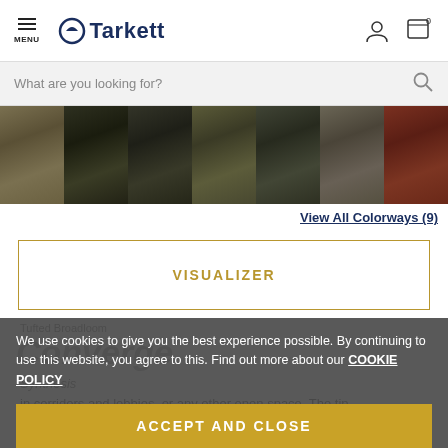MENU — Tarkett logo, user icon, cart icon (0)
What are you looking for?
[Figure (photo): Seven carpet color swatch samples ranging from light olive/tan to dark brown/charcoal and one reddish-brown, displayed in a horizontal row.]
View All Colorways (9)
VISUALIZER
Tufted Broadloom
Converge
Synthesis
in corridors and lobbies, or any other open space. The tip-
We use cookies to give you the best experience possible. By continuing to use this website, you agree to this. Find out more about our COOKIE POLICY
ACCEPT AND CLOSE